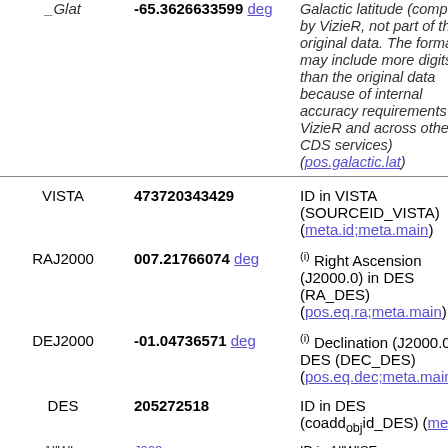| Field | Value | Description |
| --- | --- | --- |
| _Glat | -65.3626633599 deg | Galactic latitude (computed by VizieR, not part of the original data. The format may include more digits than the original data because of internal accuracy requirements in VizieR and across other CDS services) (pos.galactic.lat) |
| VISTA | 473720343429 | ID in VISTA (SOURCEID_VISTA) (meta.id;meta.main) |
| RAJ2000 | 007.21766074 deg | (i) Right Ascension (J2000.0) in DES (RA_DES) (pos.eq.ra;meta.main) |
| DEJ2000 | -01.04736571 deg | (i) Declination (J2000.0) DES (DEC_DES) (pos.eq.dec;meta.main) |
| DES | 205272518 | ID in DES (coadd_obj id_DES) (meta...) |
| AllWISE | ... | ID in AllWISE |